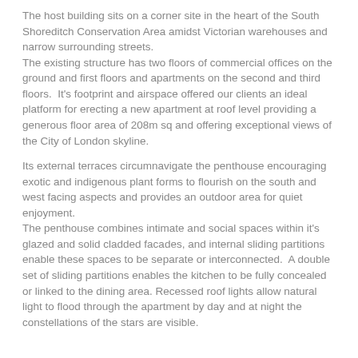The host building sits on a corner site in the heart of the South Shoreditch Conservation Area amidst Victorian warehouses and narrow surrounding streets. The existing structure has two floors of commercial offices on the ground and first floors and apartments on the second and third floors.  It's footprint and airspace offered our clients an ideal platform for erecting a new apartment at roof level providing a generous floor area of 208m sq and offering exceptional views of the City of London skyline.
Its external terraces circumnavigate the penthouse encouraging exotic and indigenous plant forms to flourish on the south and west facing aspects and provides an outdoor area for quiet enjoyment. The penthouse combines intimate and social spaces within it's glazed and solid cladded facades, and internal sliding partitions enable these spaces to be separate or interconnected.  A double set of sliding partitions enables the kitchen to be fully concealed or linked to the dining area. Recessed roof lights allow natural light to flood through the apartment by day and at night the constellations of the stars are visible.